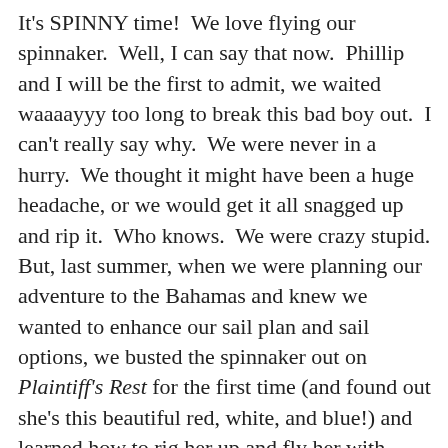It's SPINNY time!  We love flying our spinnaker.  Well, I can say that now.  Phillip and I will be the first to admit, we waited waaaayyy too long to break this bad boy out.  I can't really say why.  We were never in a hurry.  We thought it might have been a huge headache, or we would get it all snagged up and rip it.  Who knows.  We were crazy stupid. But, last summer, when we were planning our adventure to the Bahamas and knew we wanted to enhance our sail plan and sail options, we busted the spinnaker out on Plaintiff's Rest for the first time (and found out she's this beautiful red, white, and blue!) and learned how to rig her up and fly her with ease.  While it did take some finagling and [up arrow] some mistakes, we learned, they usually don't lead to a rip in the sail if you are methodical about it and take your time to follow all of the